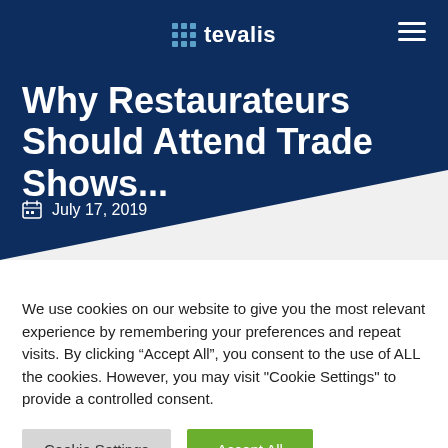tevalis
Why Restaurateurs Should Attend Trade Shows...
July 17, 2019
We use cookies on our website to give you the most relevant experience by remembering your preferences and repeat visits. By clicking “Accept All”, you consent to the use of ALL the cookies. However, you may visit "Cookie Settings" to provide a controlled consent.